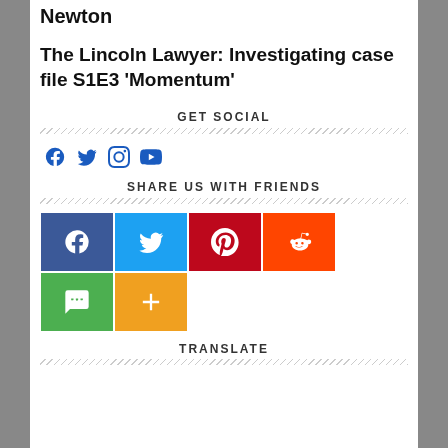Newton
The Lincoln Lawyer: Investigating case file S1E3 ‘Momentum’
GET SOCIAL
[Figure (other): Social media icons: Facebook, Twitter, Instagram, YouTube in blue]
SHARE US WITH FRIENDS
[Figure (other): Social share buttons: Facebook (dark blue), Twitter (light blue), Pinterest (red), Reddit (orange), SMS (green), More (orange)]
TRANSLATE